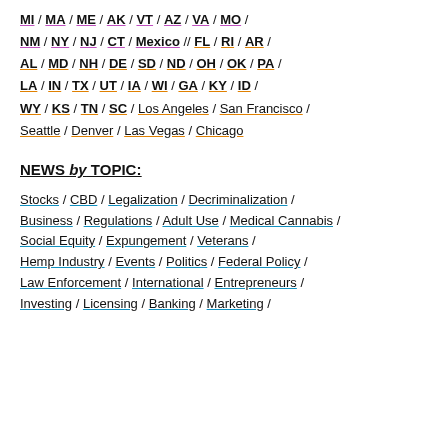MI / MA / ME / AK / VT / AZ / VA / MO /
NM / NY / NJ / CT / Mexico // FL / RI / AR /
AL / MD / NH / DE / SD / ND / OH / OK / PA /
LA / IN / TX / UT / IA / WI / GA / KY / ID /
WY / KS / TN / SC / Los Angeles / San Francisco /
Seattle / Denver / Las Vegas / Chicago
NEWS by TOPIC:
Stocks / CBD / Legalization / Decriminalization /
Business / Regulations / Adult Use / Medical Cannabis /
Social Equity / Expungement / Veterans /
Hemp Industry / Events / Politics / Federal Policy /
Law Enforcement / International / Entrepreneurs /
Investing / Licensing / Banking / Marketing /